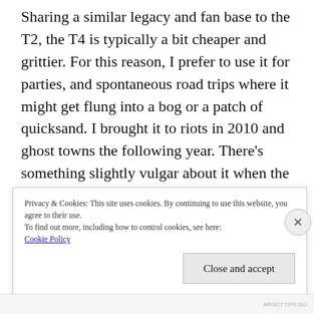Sharing a similar legacy and fan base to the T2, the T4 is typically a bit cheaper and grittier. For this reason, I prefer to use it for parties, and spontaneous road trips where it might get flung into a bog or a patch of quicksand. I brought it to riots in 2010 and ghost towns the following year. There's something slightly vulgar about it when the flash is used; I believe that this is the reason why Terry Richardson is rumored to be so fond of it. Maybe it's for someone a little more free-spirited than the
Privacy & Cookies: This site uses cookies. By continuing to use this website, you agree to their use.
To find out more, including how to control cookies, see here:
Cookie Policy
Close and accept